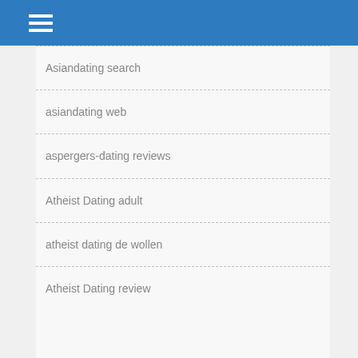Asiandating search
asiandating web
aspergers-dating reviews
Atheist Dating adult
atheist dating de wollen
Atheist Dating review